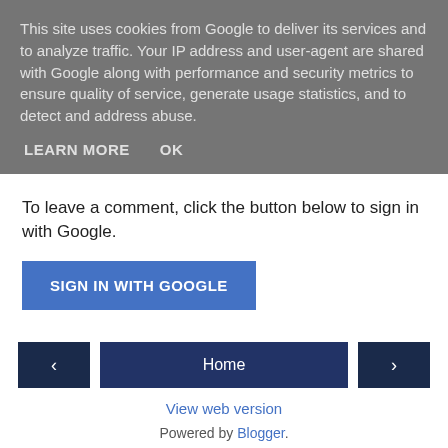This site uses cookies from Google to deliver its services and to analyze traffic. Your IP address and user-agent are shared with Google along with performance and security metrics to ensure quality of service, generate usage statistics, and to detect and address abuse.
LEARN MORE   OK
To leave a comment, click the button below to sign in with Google.
SIGN IN WITH GOOGLE
‹   Home   ›
View web version
Powered by Blogger.